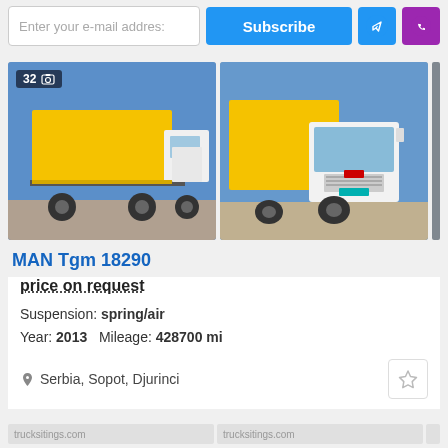Enter your e-mail address  Subscribe
[Figure (photo): Side view of MAN Tgm 18290 truck with yellow cargo box, white cab, photo count badge showing 32]
[Figure (photo): Front three-quarter view of MAN Tgm 18290 truck with yellow cargo box and white cab]
MAN Tgm 18290
price on request
Suspension: spring/air
Year: 2013   Mileage: 428700 mi
Serbia, Sopot, Djurinci
trucksitings.com  trucksitings.com